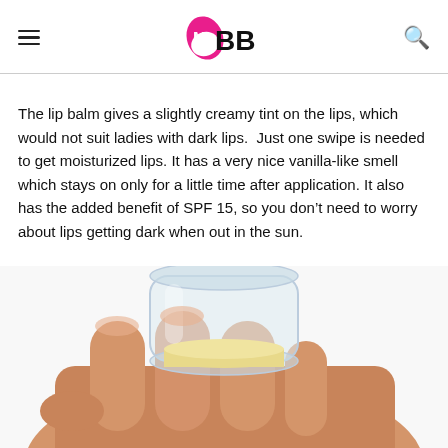IMBB (logo with hamburger menu and search icon)
The lip balm gives a slightly creamy tint on the lips, which would not suit ladies with dark lips.  Just one swipe is needed to get moisturized lips. It has a very nice vanilla-like smell which stays on only for a little time after application. It also has the added benefit of SPF 15, so you don't need to worry about lips getting dark when out in the sun.
[Figure (photo): A hand holding a clear/transparent lip balm container with a yellowish-cream colored product visible at the bottom, photographed against a white background.]